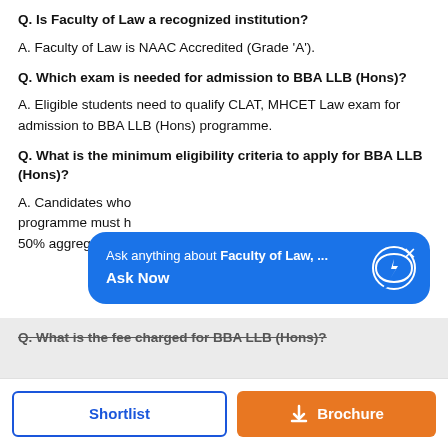Q. Is Faculty of Law a recognized institution?
A. Faculty of Law is NAAC Accredited (Grade 'A').
Q. Which exam is needed for admission to BBA LLB (Hons)?
A. Eligible students need to qualify CLAT, MHCET Law exam for admission to BBA LLB (Hons) programme.
Q. What is the minimum eligibility criteria to apply for BBA LLB (Hons)?
A. Candidates who... programme must h... 50% aggregate fro...
[Figure (screenshot): Blue popup widget: 'Ask anything about Faculty of Law, ... Ask Now' with a lightning bolt chat icon and close button]
Q. What is the fee charged for BBA LLB (Hons)?
Shortlist
Brochure